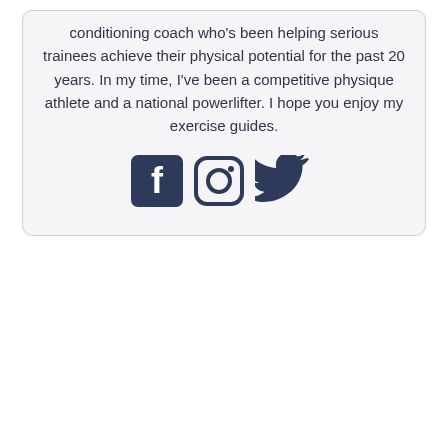conditioning coach who's been helping serious trainees achieve their physical potential for the past 20 years. In my time, I've been a competitive physique athlete and a national powerlifter. I hope you enjoy my exercise guides.
[Figure (other): Three social media icons: Facebook, Instagram, Twitter]